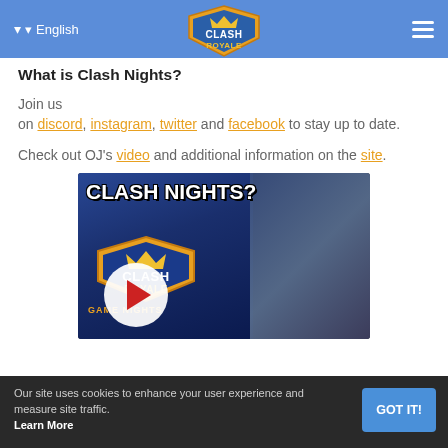English | Clash Royale logo | hamburger menu
What is Clash Nights?
Join us on discord, instagram, twitter and facebook to stay up to date.
Check out OJ's video and additional information on the site.
[Figure (screenshot): Video thumbnail for Clash Nights featuring bold white text 'CLASH NIGHTS?' over a dark background with a Clash Royale logo and crowd. A red play button is centered at the bottom.]
Our site uses cookies to enhance your user experience and measure site traffic. Learn More | GOT IT!